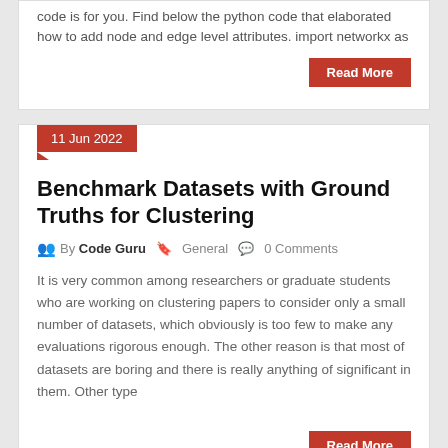code is for you. Find below the python code that elaborated how to add node and edge level attributes. import networkx as
Read More
11 Jun 2022
Benchmark Datasets with Ground Truths for Clustering
By Code Guru   General   0 Comments
It is very common among researchers or graduate students who are working on clustering papers to consider only a small number of datasets, which obviously is too few to make any evaluations rigorous enough. The other reason is that most of datasets are boring and there is really anything of significant in them. Other type
Read More